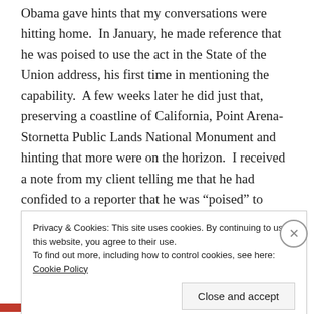Obama gave hints that my conversations were hitting home.  In January, he made reference that he was poised to use the act in the State of the Union address, his first time in mentioning the capability.  A few weeks later he did just that, preserving a coastline of California, Point Arena-Stornetta Public Lands National Monument and hinting that more were on the horizon.  I received a note from my client telling me that he had confided to a reporter that he was “poised” to protect the Organ Mountains if Congress didn’t.  We have sat for many months waiting for any news on the progress, hopeful.
Privacy & Cookies: This site uses cookies. By continuing to use this website, you agree to their use.
To find out more, including how to control cookies, see here: Cookie Policy
Close and accept